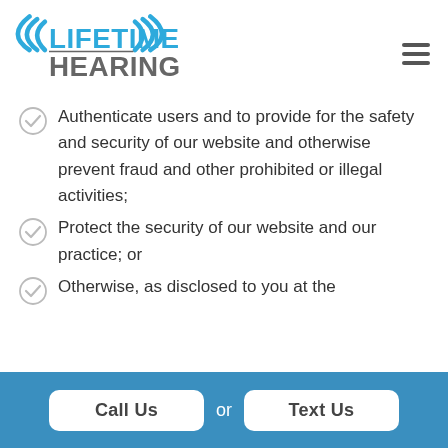[Figure (logo): Lifetime Hearing logo with sound wave arcs in blue and gray text]
Authenticate users and to provide for the safety and security of our website and otherwise prevent fraud and other prohibited or illegal activities;
Protect the security of our website and our practice; or
Otherwise, as disclosed to you at the
Call Us  or  Text Us